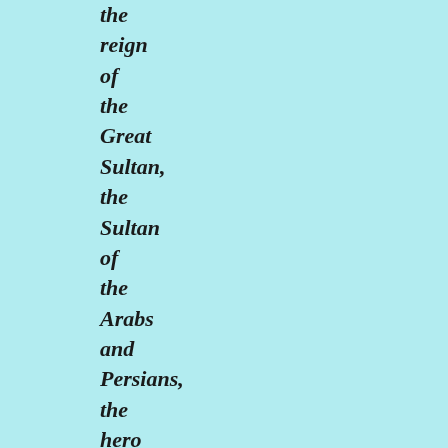the reign of the Great Sultan, the Sultan of the Arabs and Persians, the hero and the deputy of the Commander of